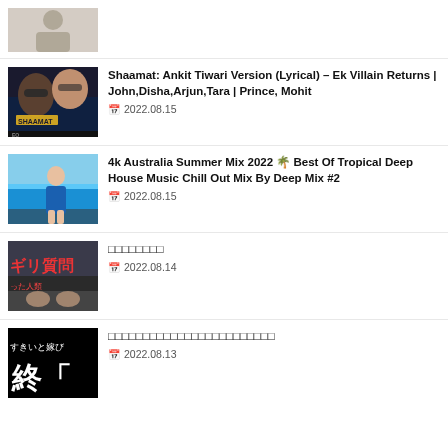[Figure (photo): Top partial thumbnail, person in light interior setting]
[Figure (photo): Movie poster for Shaamat featuring sunglasses-wearing man and woman]
Shaamat: Ankit Tiwari Version (Lyrical) – Ek Villain Returns | John,Disha,Arjun,Tara | Prince, Mohit
2022.08.15
[Figure (photo): Woman in blue swimsuit by pool/ocean]
4k Australia Summer Mix 2022 🌴 Best Of Tropical Deep House Music Chill Out Mix By Deep Mix #2
2022.08.15
[Figure (photo): Japanese video thumbnail with text overlay]
□□□□□□□□
2022.08.14
[Figure (photo): Japanese video thumbnail with black background and text]
□□□□□□□□□□□□□□□□□□□□□□□□
2022.08.13